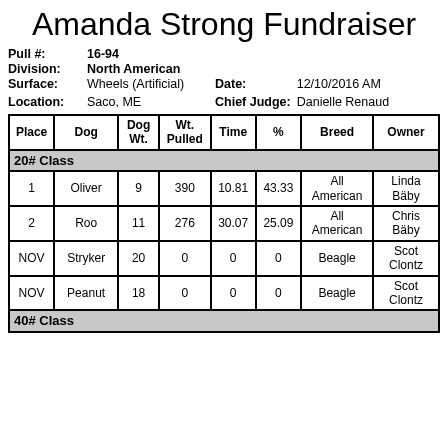Amanda Strong Fundraiser
Pull #: 16-94
Division: North American
Surface: Wheels (Artificial)
Date: 12/10/2016 AM
Location: Saco, ME
Chief Judge: Danielle Renaud
| Place | Dog | Dog Wt. | Wt. Pulled | Time | % | Breed | Owner |
| --- | --- | --- | --- | --- | --- | --- | --- |
| 20# Class |  |  |  |  |  |  |  |
| 1 | Oliver | 9 | 390 | 10.81 | 43.33 | All American | Linda Bäby |
| 2 | Roo | 11 | 276 | 30.07 | 25.09 | All American | Chris Bäby |
| NOV | Stryker | 20 | 0 | 0 | 0 | Beagle | Scot Clontz |
| NOV | Peanut | 18 | 0 | 0 | 0 | Beagle | Scot Clontz |
| 40# Class |  |  |  |  |  |  |  |